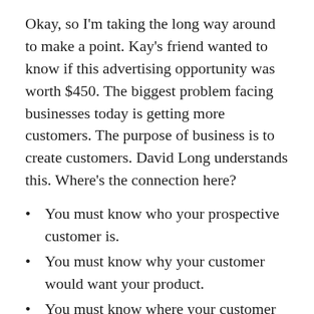Okay, so I'm taking the long way around to make a point. Kay's friend wanted to know if this advertising opportunity was worth $450. The biggest problem facing businesses today is getting more customers. The purpose of business is to create customers. David Long understands this. Where's the connection here?
You must know who your prospective customer is.
You must know why your customer would want your product.
You must know where your customer hangs out, what he/she reads, and where they get their information.
If Kay's friend already knew the answer to the question, she would know that the...